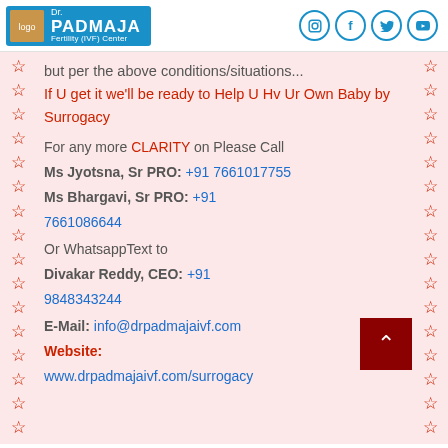Dr. PADMAJA Fertility (IVF) Center
but per the above conditions/situations... If U get it we'll be ready to Help U Hv Ur Own Baby by Surrogacy
For any more CLARITY on Please Call Ms Jyotsna, Sr PRO: +91 7661017755 Ms Bhargavi, Sr PRO: +91 7661086644 Or WhatsappText to Divakar Reddy, CEO: +91 9848343244 E-Mail: info@drpadmajaivf.com Website: www.drpadmajaivf.com/surrogacy